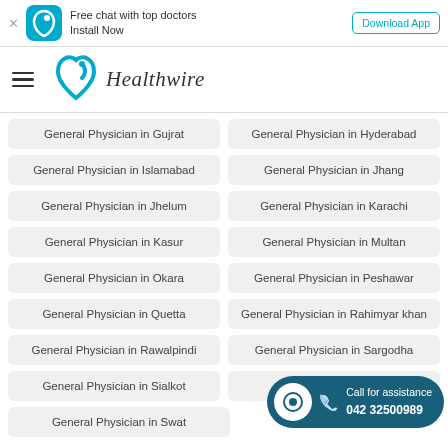Free chat with top doctors Install Now | Download App
[Figure (logo): Healthwire logo with teal heart/leaf icon and italic text 'Healthwire']
General Physician in Gujrat
General Physician in Hyderabad
General Physician in Islamabad
General Physician in Jhang
General Physician in Jhelum
General Physician in Karachi
General Physician in Kasur
General Physician in Multan
General Physician in Okara
General Physician in Peshawar
General Physician in Quetta
General Physician in Rahimyar khan
General Physician in Rawalpindi
General Physician in Sargodha
General Physician in Sialkot
General Physician in Swat
Call for assistance 042 32500989